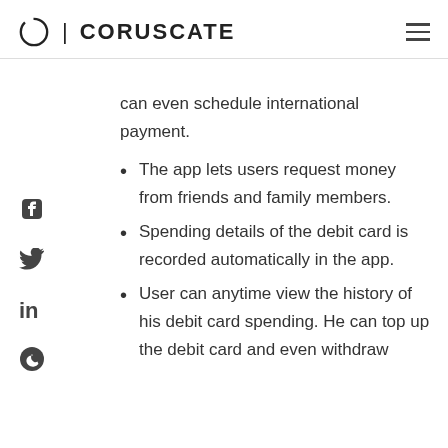CORUSCATE
can even schedule international payment.
The app lets users request money from friends and family members.
Spending details of the debit card is recorded automatically in the app.
User can anytime view the history of his debit card spending. He can top up the debit card and even withdraw